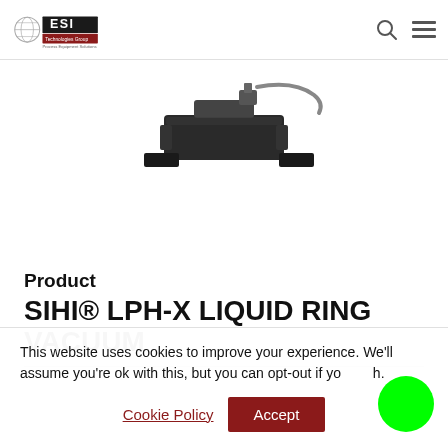ESI Technologies Group – Process Equipment Solutions
[Figure (photo): Partial photo of SIHI LPH-X liquid ring vacuum pump hardware component, showing black metal parts against white background]
Product
SIHI® LPH-X LIQUID RING VACUUM
This website uses cookies to improve your experience. We'll assume you're ok with this, but you can opt-out if you wish.
Cookie Policy  Accept